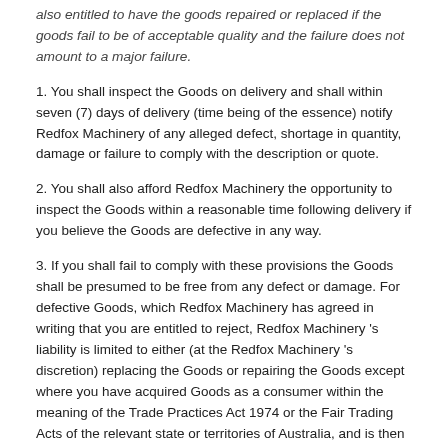also entitled to have the goods repaired or replaced if the goods fail to be of acceptable quality and the failure does not amount to a major failure.
1. You shall inspect the Goods on delivery and shall within seven (7) days of delivery (time being of the essence) notify Redfox Machinery of any alleged defect, shortage in quantity, damage or failure to comply with the description or quote.
2. You shall also afford Redfox Machinery the opportunity to inspect the Goods within a reasonable time following delivery if you believe the Goods are defective in any way.
3. If you shall fail to comply with these provisions the Goods shall be presumed to be free from any defect or damage. For defective Goods, which Redfox Machinery has agreed in writing that you are entitled to reject, Redfox Machinery 's liability is limited to either (at the Redfox Machinery 's discretion) replacing the Goods or repairing the Goods except where you have acquired Goods as a consumer within the meaning of the Trade Practices Act 1974 or the Fair Trading Acts of the relevant state or territories of Australia, and is then further entitled to at the consumer's discretion with